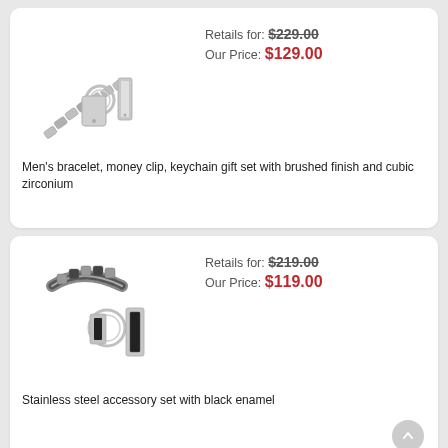[Figure (photo): Men's bracelet, money clip, and keychain gift set with brushed finish and cubic zirconium — stainless steel items shown on white background]
Retails for: $229.00
Our Price: $129.00
Men's bracelet, money clip, keychain gift set with brushed finish and cubic zirconium
[Figure (photo): Stainless steel accessory set with black enamel — bracelet, keychain, and money clip shown on white background]
Retails for: $219.00
Our Price: $119.00
Stainless steel accessory set with black enamel